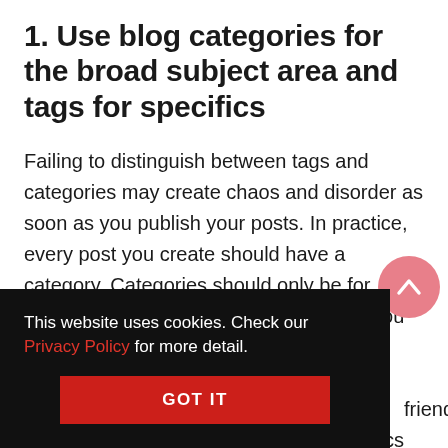1. Use blog categories for the broad subject area and tags for specifics
Failing to distinguish between tags and categories may create chaos and disorder as soon as you publish your posts. In practice, every post you create should have a category. Categories should only be for broad grouping and general topics that you often write about. Tags are for …ule for …friendly. …cs data for
This website uses cookies. Check our Privacy Policy for more detail.
GOT IT